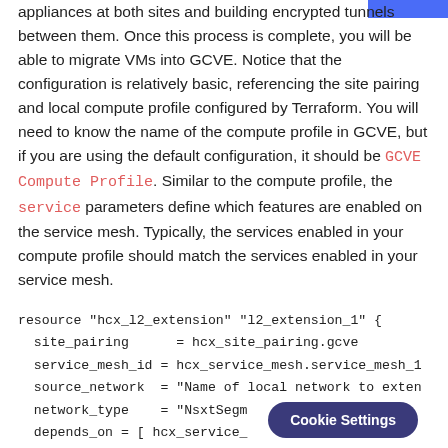appliances at both sites and building encrypted tunnels between them. Once this process is complete, you will be able to migrate VMs into GCVE. Notice that the configuration is relatively basic, referencing the site pairing and local compute profile configured by Terraform. You will need to know the name of the compute profile in GCVE, but if you are using the default configuration, it should be GCVE Compute Profile. Similar to the compute profile, the service parameters define which features are enabled on the service mesh. Typically, the services enabled in your compute profile should match the services enabled in your service mesh.
resource "hcx_l2_extension" "l2_extension_1" {
  site_pairing      = hcx_site_pairing.gcve
  service_mesh_id = hcx_service_mesh.service_mesh_1
  source_network  = "Name of local network to exten
  network_type    = "NsxtSegm
  depends_on = [ hcx_service_